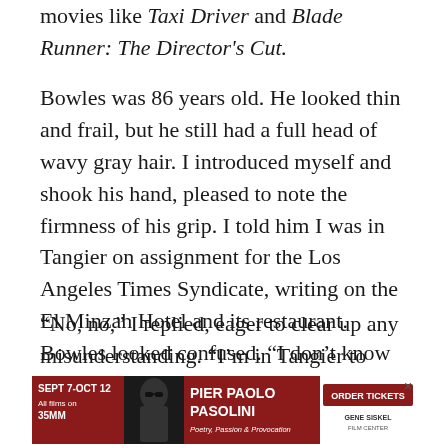movies like Taxi Driver and Blade Runner: The Director’s Cut.
Bowles was 86 years old. He looked thin and frail, but he still had a full head of wavy gray hair. I introduced myself and shook his hand, pleased to note the firmness of his grip. I told him I was in Tangier on assignment for the Los Angeles Times Syndicate, writing on the El Minzah Hotel and its restaurant. Bowles looked confused. “I don’t know anything about that,” he said.
“No, no,” I replied, eager to clear up any misunderstanding. “I’m in Tangier to report on those places, but I came to see you just to say hello.” The
[Figure (infographic): Advertisement banner for Pier Paolo Pasolini film series at Gene Siskel Film Center, Sept 7 - Oct 12, all films on 35MM. Red and black design with photo of Pasolini in sunglasses. Order Tickets button.]